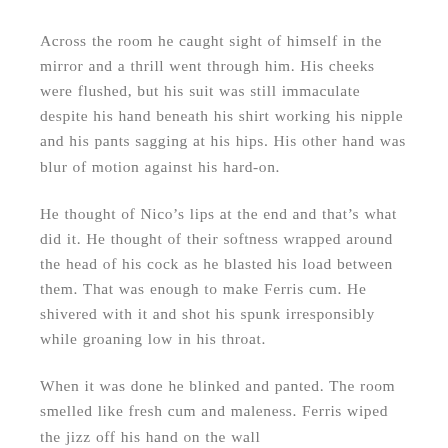Across the room he caught sight of himself in the mirror and a thrill went through him. His cheeks were flushed, but his suit was still immaculate despite his hand beneath his shirt working his nipple and his pants sagging at his hips. His other hand was blur of motion against his hard-on.
He thought of Nico’s lips at the end and that’s what did it. He thought of their softness wrapped around the head of his cock as he blasted his load between them. That was enough to make Ferris cum. He shivered with it and shot his spunk irresponsibly while groaning low in his throat.
When it was done he blinked and panted. The room smelled like fresh cum and maleness. Ferris wiped the jizz off his hand on the wall